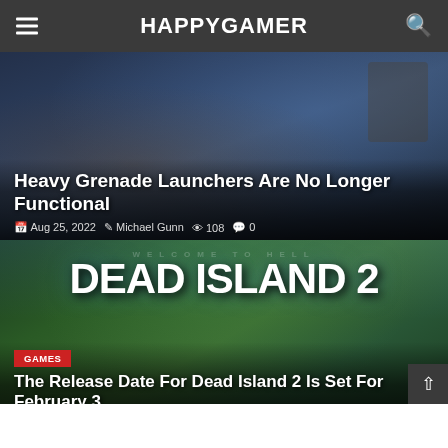HAPPYGAMER
Heavy Grenade Launchers Are No Longer Functional
Aug 25, 2022  Michael Gunn  108  0
[Figure (screenshot): Dead Island 2 game promotional image with 'WELCOME TO HELL' and 'DEAD ISLAND 2' text overlay]
GAMES
The Release Date For Dead Island 2 Is Set For February 3
Aug 24, 2022  Michael Gunn  72